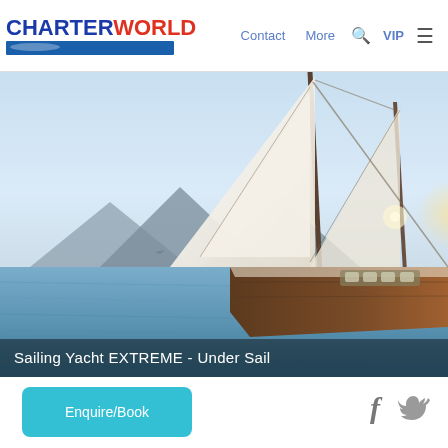CHARTERWORLD  Contact  More  VIP
[Figure (photo): Sailing yacht under sail on calm water with mountains in background and warm sunlight, viewed from low angle showing tall white sails and dark wooden hull]
Sailing Yacht EXTREME - Under Sail
Enquire/Book